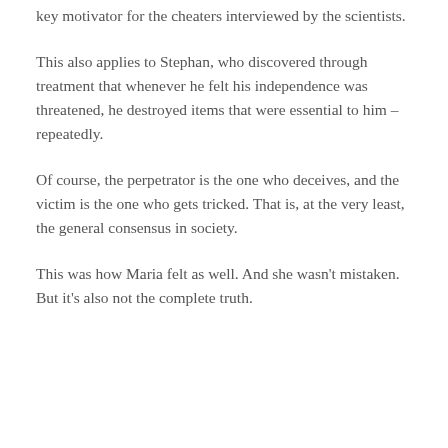key motivator for the cheaters interviewed by the scientists.
This also applies to Stephan, who discovered through treatment that whenever he felt his independence was threatened, he destroyed items that were essential to him – repeatedly.
Of course, the perpetrator is the one who deceives, and the victim is the one who gets tricked. That is, at the very least, the general consensus in society.
This was how Maria felt as well. And she wasn't mistaken. But it's also not the complete truth.